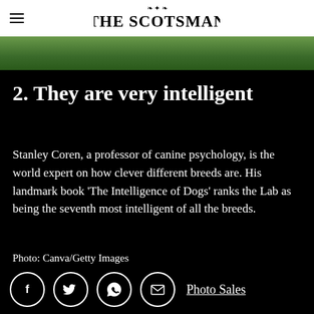THE SCOTSMAN
[Figure (photo): Partial photo of a dog on green grass, cropped strip at top of article]
2. They are very intelligent
Stanley Coren, a professor of canine psychology, is the world expert on how clever different breeds are. His landmark book 'The Intelligence of Dogs' ranks the Lab as being the seventh most intelligent of all the breeds.
Photo: Canva/Getty Images
Photo Sales